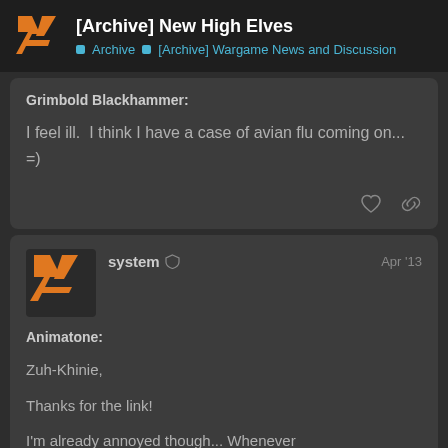[Archive] New High Elves — Archive > [Archive] Wargame News and Discussion
Grimbold Blackhammer:

I feel ill.  I think I have a case of avian flu coming on... =)
system  Apr '13

Animatone:

Zuh-Khinie,

Thanks for the link!

I'm already annoyed though... Whenever
6 / 66